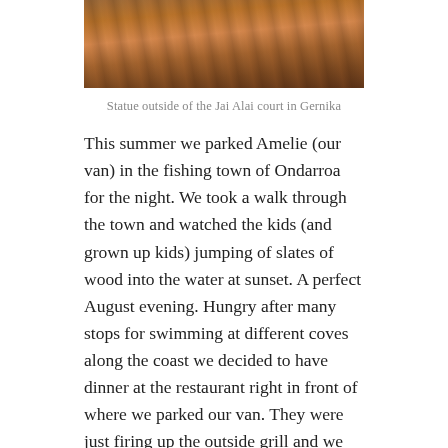[Figure (photo): Partial view of a wooden statue or structure outside the Jai Alai court in Gernika, showing warm reddish-brown tones of wood.]
Statue outside of the Jai Alai court in Gernika
This summer we parked Amelie (our van) in the fishing town of Ondarroa for the night. We took a walk through the town and watched the kids (and grown up kids) jumping of slates of wood into the water at sunset. A perfect August evening. Hungry after many stops for swimming at different coves along the coast we decided to have dinner at the restaurant right in front of where we parked our van. They were just firing up the outside grill and we were lucky enough to get a table in what turned out to be one of the best places in town. Asador Erretagi Jose Manuel served us a fantastic meal with warm and congenial service. It was outstanding to say the least. The manager told us how she would make it first to the market every morning to get the best tomatoes possible. The albacore tuna with onions was one of the best fish